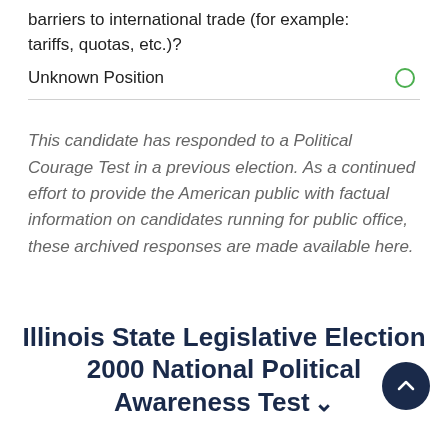barriers to international trade (for example: tariffs, quotas, etc.)?
Unknown Position
This candidate has responded to a Political Courage Test in a previous election. As a continued effort to provide the American public with factual information on candidates running for public office, these archived responses are made available here.
Illinois State Legislative Election 2000 National Political Awareness Test